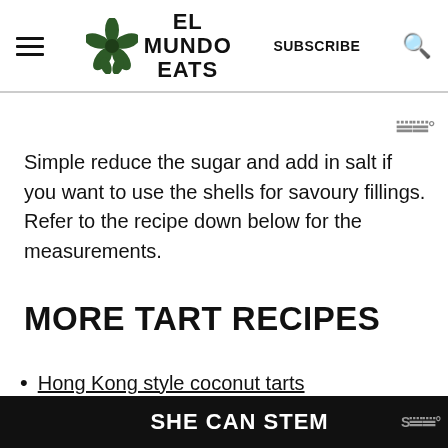EL MUNDO EATS | SUBSCRIBE
Simple reduce the sugar and add in salt if you want to use the shells for savoury fillings. Refer to the recipe down below for the measurements.
MORE TART RECIPES
Hong Kong style coconut tarts
[Figure (other): SHE CAN STEM advertisement banner]